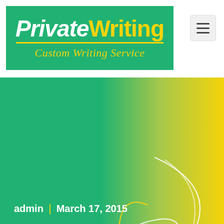[Figure (logo): PrivateWriting Custom Writing Service logo — white and yellow bold text on green background]
[Figure (illustration): Hamburger menu icon on light grey button, top right corner]
[Figure (illustration): Green to yellow gradient hero background with decorative white and yellow pen swirl illustration]
admin | March 17, 2015